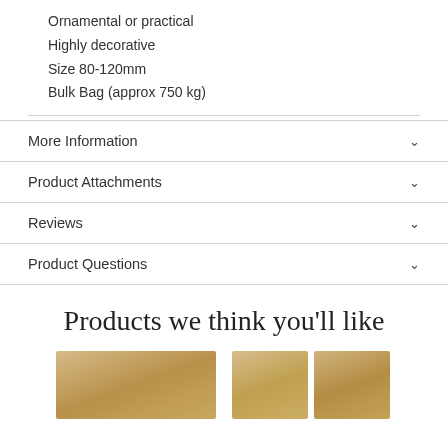Ornamental or practical
Highly decorative
Size 80-120mm
Bulk Bag (approx 750 kg)
More Information
Product Attachments
Reviews
Product Questions
Products we think you'll like
[Figure (photo): Product images of decorative stone/timber products shown at bottom of page]